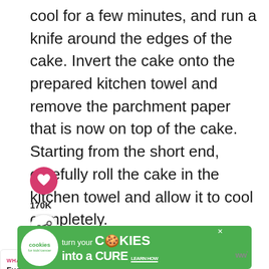cool for a few minutes, and run a knife around the edges of the cake. Invert the cake onto the prepared kitchen towel and remove the parchment paper that is now on top of the cake. Starting from the short end, carefully roll the cake in the kitchen towel and allow it to cool completely.
[Figure (other): Pink circular like/heart button with heart icon, followed by share button (circular with share icon)]
170K
[Figure (other): What's Next promo card: WHAT'S NEXT arrow, Fudgy Flourless... with food thumbnail image]
[Figure (other): Advertisement banner: cookies for kids cancer - turn your COOKIES into a CURE LEARN HOW]